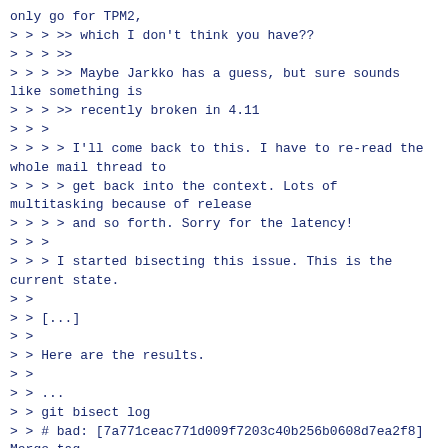only go for TPM2,
> > > >> which I don't think you have??
> > > >>
> > > >> Maybe Jarkko has a guess, but sure sounds like something is
> > > >> recently broken in 4.11
> > >
> > > > I'll come back to this. I have to re-read the whole mail thread to
> > > > get back into the context. Lots of multitasking because of release
> > > > and so forth. Sorry for the latency!
> > >
> > > I started bisecting this issue. This is the current state.
> >
> > [...]
> >
> > Here are the results.
> >
> > ...
> > git bisect log
> > # bad: [7a771ceac771d009f7203c40b256b0608d7ea2f8] Merge tag
> > 'dm-4.11-changes' of
> >
git://git.kernel.org/pub/scm/linux/kernel/git/device-mapper/linux-dm
> > # good: [c470abd4fde40ea6a0846a2beab642a578c0b8cd] linux 4.10 git